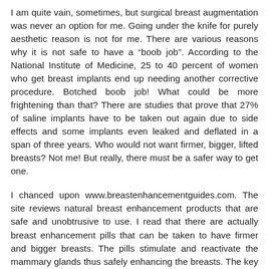I am quite vain, sometimes, but surgical breast augmentation was never an option for me. Going under the knife for purely aesthetic reason is not for me. There are various reasons why it is not safe to have a “boob job”. According to the National Institute of Medicine, 25 to 40 percent of women who get breast implants end up needing another corrective procedure. Botched boob job! What could be more frightening than that? There are studies that prove that 27% of saline implants have to be taken out again due to side effects and some implants even leaked and deflated in a span of three years. Who would not want firmer, bigger, lifted breasts? Not me! But really, there must be a safer way to get one.
I chanced upon www.breastenhancementguides.com. The site reviews natural breast enhancement products that are safe and unobtrusive to use. I read that there are actually breast enhancement pills that can be taken to have firmer and bigger breasts. The pills stimulate and reactivate the mammary glands thus safely enhancing the breasts. The key word here is “safely”, no life or “breast” is put in danger. The breast enhancement pills used in combination with breast